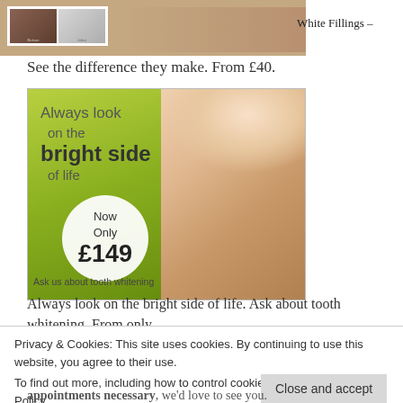[Figure (photo): Before and after teeth whitening images with a dental clinic background, showing teeth comparison. Brown/skin-toned background on right.]
White Fillings –
See the difference they make. From £40.
[Figure (photo): Promotional advertisement for tooth whitening. Green meadow background with a smiling blonde woman. Text reads 'Always look on the bright side of life. Now Only £149. Ask us about tooth whitening.']
Always look on the bright side of life. Ask about tooth whitening. From only
Privacy & Cookies: This site uses cookies. By continuing to use this website, you agree to their use.
To find out more, including how to control cookies, see here: Cookie Policy
Close and accept
appointments necessary, we'd love to see you.